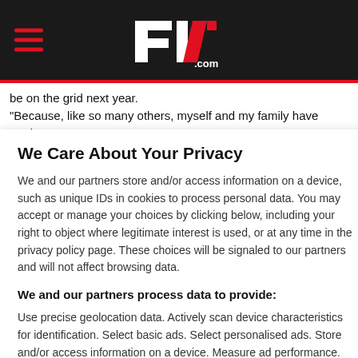F1.com (header with hamburger menu and logo)
be on the grid next year.
"Because, like so many others, myself and my family have made great
We Care About Your Privacy
We and our partners store and/or access information on a device, such as unique IDs in cookies to process personal data. You may accept or manage your choices by clicking below, including your right to object where legitimate interest is used, or at any time in the privacy policy page. These choices will be signaled to our partners and will not affect browsing data.
We and our partners process data to provide:
Use precise geolocation data. Actively scan device characteristics for identification. Select basic ads. Select personalised ads. Store and/or access information on a device. Measure ad performance. Create a personalised content profile. Apply market research to generate audience insights. Develop and improve products. Select